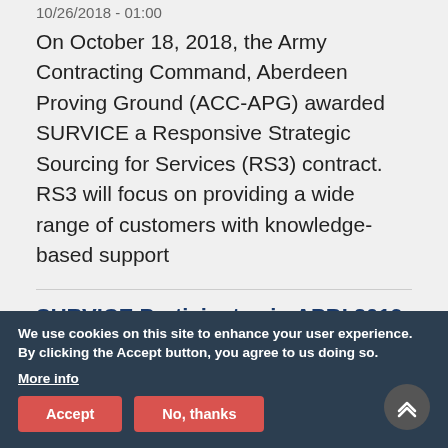10/26/2018 - 01:00
On October 18, 2018, the Army Contracting Command, Aberdeen Proving Ground (ACC-APG) awarded SURVICE a Responsive Strategic Sourcing for Services (RS3) contract. RS3 will focus on providing a wide range of customers with knowledge-based support
SURVICE Participates in APBI 2019
04/13/2019 - 16:57
On April 10, SURVICE's Eric Whiteman (Director of ... inated in the Naval Surface
We use cookies on this site to enhance your user experience. By clicking the Accept button, you agree to us doing so.
More info